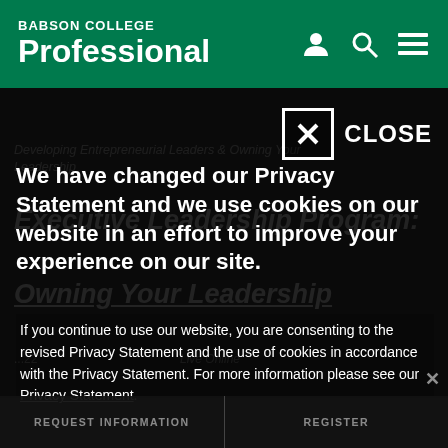BABSON COLLEGE Professional
[Figure (screenshot): Dark overlay with ghost text showing 'Executive Leadership Program: Owning Your Leadership' behind a privacy notice modal dialog]
We have changed our Privacy Statement and we use cookies on our website in an effort to improve your experience on our site.
If you continue to use our website, you are consenting to the revised Privacy Statement and the use of cookies in accordance with the Privacy Statement. For more information please see our Privacy Statement.
CLOSE
REQUEST INFORMATION
REGISTER